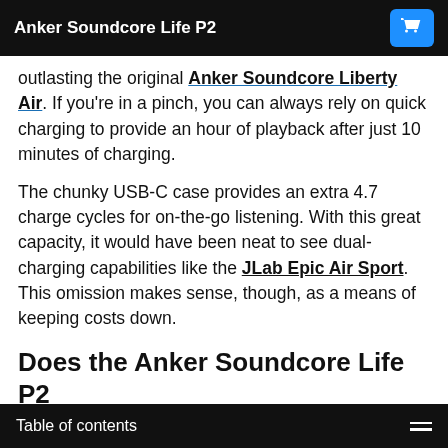Anker Soundcore Life P2
outlasting the original Anker Soundcore Liberty Air. If you're in a pinch, you can always rely on quick charging to provide an hour of playback after just 10 minutes of charging.
The chunky USB-C case provides an extra 4.7 charge cycles for on-the-go listening. With this great capacity, it would have been neat to see dual-charging capabilities like the JLab Epic Air Sport. This omission makes sense, though, as a means of keeping costs down.
Does the Anker Soundcore Life P2
Table of contents